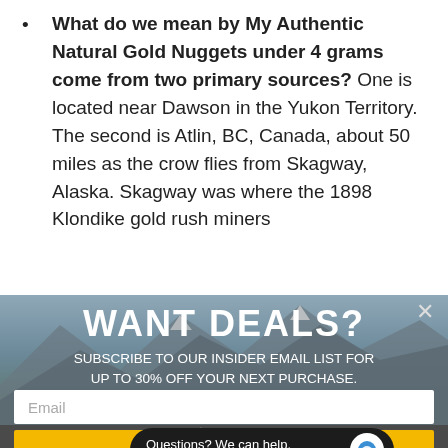What do we mean by My Authentic Natural Gold Nuggets under 4 grams come from two primary sources? One is located near Dawson in the Yukon Territory. The second is Atlin, BC, Canada, about 50 miles as the crow flies from Skagway, Alaska. Skagway was where the 1898 Klondike gold rush miners
[Figure (screenshot): A popup modal overlay on a webpage. Background shows snowy mountain landscape. Modal contains: 'WANT DEALS?' heading, 'SUBSCRIBE TO OUR INSIDER EMAIL LIST FOR UP TO 30% OFF YOUR NEXT PURCHASE.' text, an email input field, a yellow submit button, and a chat widget saying 'Questions? We can help. Chat with us now.' with a blue chat icon. A close (X) button is in the top right.]